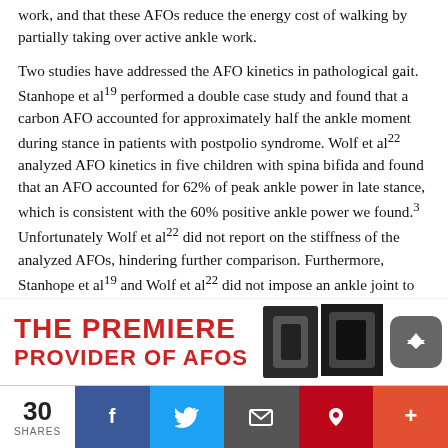work, and that these AFOs reduce the energy cost of walking by partially taking over active ankle work.

Two studies have addressed the AFO kinetics in pathological gait. Stanhope et al19 performed a double case study and found that a carbon AFO accounted for approximately half the ankle moment during stance in patients with postpolio syndrome. Wolf et al22 analyzed AFO kinetics in five children with spina bifida and found that an AFO accounted for 62% of peak ankle power in late stance, which is consistent with the 60% positive ankle power we found.3 Unfortunately Wolf et al22 did not report on the stiffness of the analyzed AFOs, hindering further comparison. Furthermore, Stanhope et al19 and Wolf et al22 did not impose an ankle joint to the AFO while measuring its stiffness, which raises the question of whether their obtained AFO moments can be compared to moments obtained from clinical gait analysis.
[Figure (infographic): Advertisement banner: THE PREMIERE PROVIDER OF AFOS with images of AFO devices on the right side]
30 SHARES | Facebook | Twitter | Email | Pinterest | More